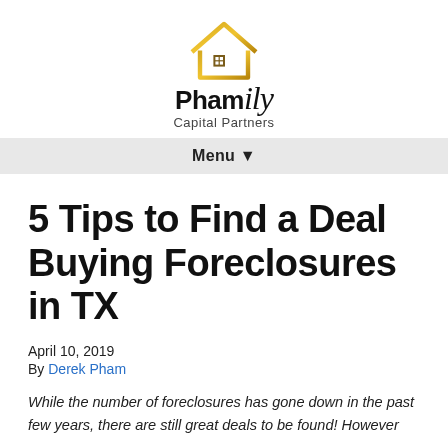[Figure (logo): Phamily Capital Partners logo with gold house icon and stylized text]
Menu ▾
5 Tips to Find a Deal Buying Foreclosures in TX
April 10, 2019
By Derek Pham
While the number of foreclosures has gone down in the past few years, there are still great deals to be found! However